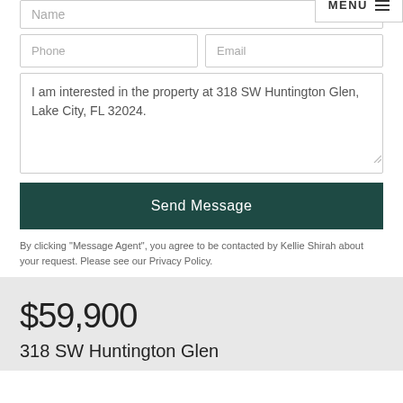Name
Phone
Email
I am interested in the property at 318 SW Huntington Glen, Lake City, FL 32024.
Send Message
By clicking "Message Agent", you agree to be contacted by Kellie Shirah about your request. Please see our Privacy Policy.
$59,900
318 SW Huntington Glen